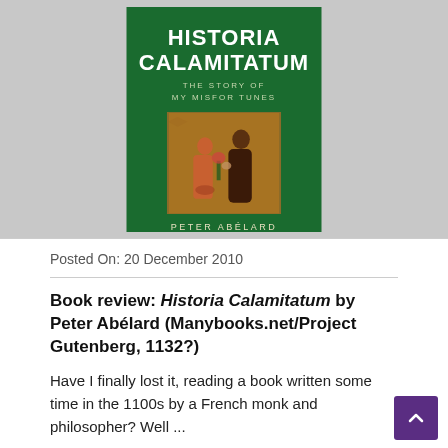[Figure (photo): Book cover of Historia Calamitatum by Peter Abélard on a grey background. The cover is dark green with white title text 'HISTORIA CALAMITATUM', subtitle 'THE STORY OF MY MISFORTUNES', a medieval painting of two figures, and author name 'PETER ABÉLARD'.]
Posted On: 20 December 2010
Book review: Historia Calamitatum by Peter Abélard (Manybooks.net/Project Gutenberg, 1132?)
Have I finally lost it, reading a book written some time in the 1100s by a French monk and philosopher? Well ...